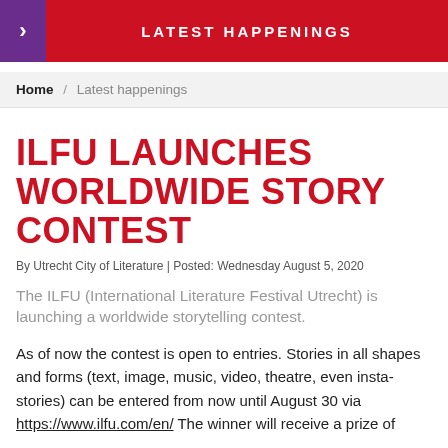LATEST HAPPENINGS
Home / Latest happenings
ILFU LAUNCHES WORLDWIDE STORY CONTEST
By Utrecht City of Literature | Posted: Wednesday August 5, 2020
The ILFU (International Literature Festival Utrecht) is launching a worldwide storytelling contest.
As of now the contest is open to entries. Stories in all shapes and forms (text, image, music, video, theatre, even insta-stories) can be entered from now until August 30 via https://www.ilfu.com/en/  The winner will receive a prize of